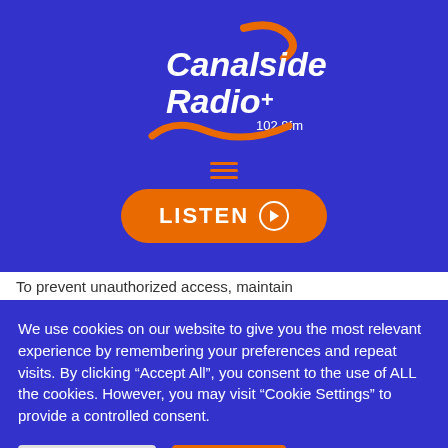[Figure (logo): Canalside Radio+ 102.8fm logo with orange swoosh/wave graphic on blue background, hamburger menu icon, and orange LISTEN button with play icon]
To prevent unauthorized access, maintain
We use cookies on our website to give you the most relevant experience by remembering your preferences and repeat visits. By clicking “Accept All”, you consent to the use of ALL the cookies. However, you may visit "Cookie Settings" to provide a controlled consent.
Cookie Settings
Accept All